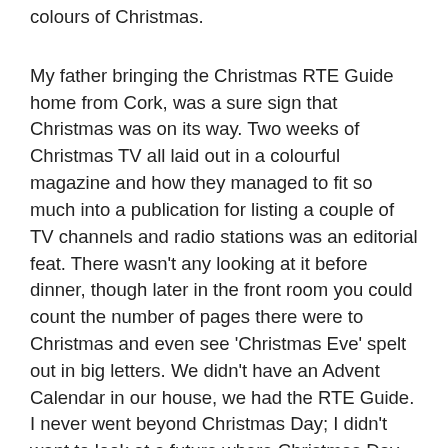colours of Christmas.
My father bringing the Christmas RTE Guide home from Cork, was a sure sign that Christmas was on its way. Two weeks of Christmas TV all laid out in a colourful magazine and how they managed to fit so much into a publication for listing a couple of TV channels and radio stations was an editorial feat. There wasn't any looking at it before dinner, though later in the front room you could count the number of pages there were to Christmas and even see 'Christmas Eve' spelt out in big letters. We didn't have an Advent Calendar in our house, we had the RTE Guide. I never went beyond Christmas Day; I didn't want to look at a future where Christmas Day was in the past.
Before the RTE Guide would make its way down from Cork in my father's briefcase the Holly Bough would have come to Rushbrooke Terrace. Dad would get it about a week earlier, and I'd scour it for stories and photos of Cobh. Christmas